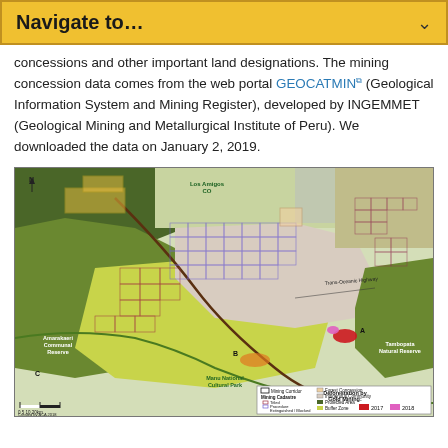Navigate to…
concessions and other important land designations. The mining concession data comes from the web portal GEOCATMIN (Geological Information System and Mining Register), developed by INGEMMET (Geological Mining and Metallurgical Institute of Peru). We downloaded the data on January 2, 2019.
[Figure (map): Map of the Madre de Dios region in Peru showing mining concessions (Mining Corridor, Mining Cadastre: Titled, Procedure, Extinguished/Blocked), Forest Concessions, Indigenous Community areas, Protected Areas, Buffer Zones, and deforestation by gold mining for 2017 (red) and 2018 (pink). Labels include Los Amigos CO, Amarakaeri Communal Reserve, Manu National Cultural Park, Tambopata Natural Reserve. Points A, B, C marked on map. Created by ACA 2018.]